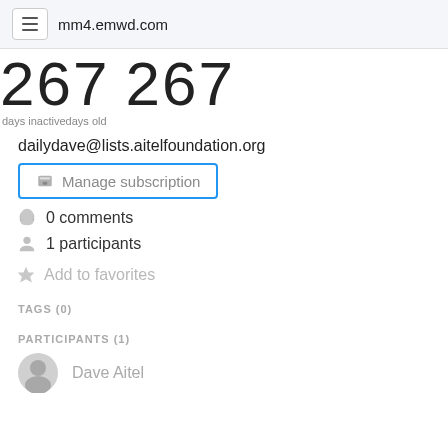mm4.emwd.com
267 267
days inactivedays old
dailydave@lists.aitelfoundation.org
Manage subscription
0 comments
1 participants
Add to favorites
TAGS (0)
PARTICIPANTS (1)
Dave Aitel